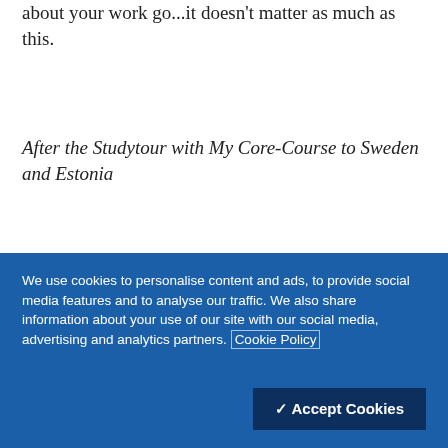about your work go...it doesn't matter as much as this.
After the Studytour with My Core-Course to Sweden and Estonia
Wow you've missed these guys. Your host mother Dot can be such a control-freak but it just means she cares, and the family interrupts you working for
We use cookies to personalise content and ads, to provide social media features and to analyse our traffic. We also share information about your use of our site with our social media, advertising and analytics partners. Cookie Policy
✓ Accept Cookies